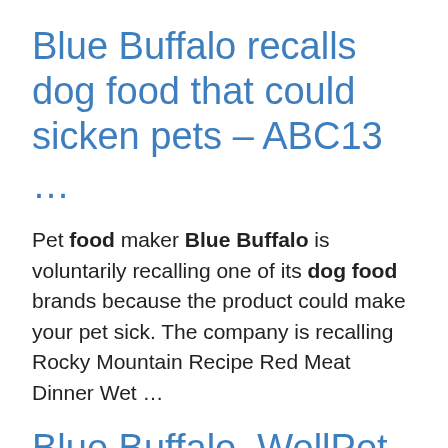Blue Buffalo recalls dog food that could sicken pets – ABC13 …
Pet food maker Blue Buffalo is voluntarily recalling one of its dog food brands because the product could make your pet sick. The company is recalling Rocky Mountain Recipe Red Meat Dinner Wet …
Blue Buffalo, WellPet dog food recalled for